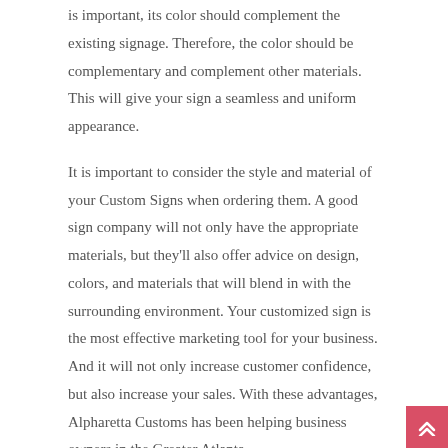is important, its color should complement the existing signage. Therefore, the color should be complementary and complement other materials. This will give your sign a seamless and uniform appearance.
It is important to consider the style and material of your Custom Signs when ordering them. A good sign company will not only have the appropriate materials, but they'll also offer advice on design, colors, and materials that will blend in with the surrounding environment. Your customized sign is the most effective marketing tool for your business. And it will not only increase customer confidence, but also increase your sales. With these advantages, Alpharetta Customs has been helping business owners in the Greater Atlanta